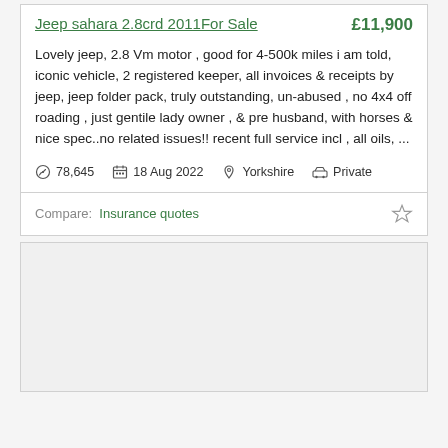Jeep sahara 2.8crd 2011For Sale — £11,900
Lovely jeep, 2.8 Vm motor , good for 4-500k miles i am told, iconic vehicle, 2 registered keeper, all invoices & receipts by jeep, jeep folder pack, truly outstanding, un-abused , no 4x4 off roading , just gentile lady owner , & pre husband, with horses & nice spec..no related issues!! recent full service incl , all oils, ...
78,645   18 Aug 2022   Yorkshire   Private
Compare:  Insurance quotes
[Figure (other): Grey/light background placeholder card, second listing item, content not loaded]